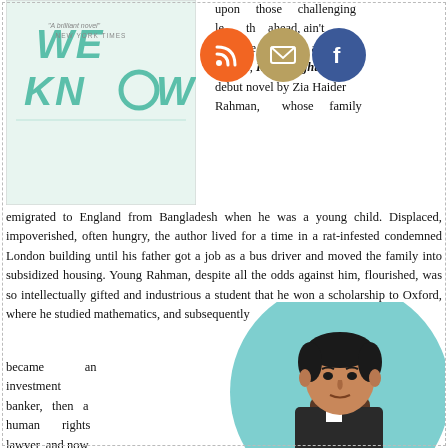[Figure (illustration): Book cover for 'What We Know' with teal/mint handwritten style text on light background, with 'A brilliant novel - NEW YORK TIMES' text]
[Figure (infographic): Three social media icon circles: RSS (orange), Email (gold/tan), Facebook (blue)]
upon those challenging ahead, ain't for sie inventive and erudite, In the Light is a debut novel by Zia Haider Rahman, whose family emigrated to England from Bangladesh when he was a young child. Displaced, impoverished, often hungry, the author lived for a time in a rat-infested condemned London building until his father got a job as a bus driver and moved the family into subsidized housing. Young Rahman, despite all the odds against him, flourished, was so intellectually gifted and industrious a student that he won a scholarship to Oxford, where he studied mathematics, and subsequently became an investment banker, then a human rights lawyer, and now, a novelist.
[Figure (photo): Portrait photograph of Zia Haider Rahman, a South Asian man with dark hair, wearing a dark jacket, against a light teal/mint circular background]
Not much happens in this